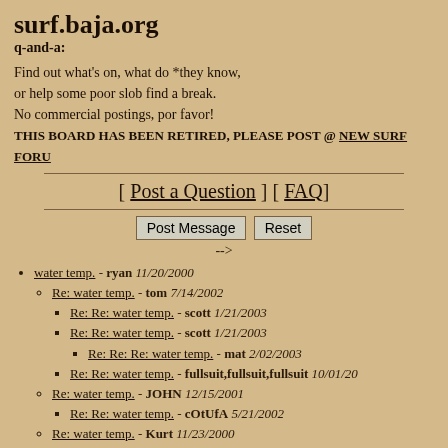surf.baja.org
q-and-a:
Find out what's on, what do *they know,
or help some poor slob find a break.
No commercial postings, por favor!
THIS BOARD HAS BEEN RETIRED, PLEASE POST @ NEW SURF FORU
[ Post a Question ] [ FAQ ]
Post Message   Reset
-->
water temp. - ryan 11/20/2000
Re: water temp. - tom 7/14/2002
Re: Re: water temp. - scott 1/21/2003
Re: Re: water temp. - scott 1/21/2003
Re: Re: Re: water temp. - mat 2/02/2003
Re: Re: water temp. - fullsuit,fullsuit,fullsuit 10/01/20
Re: water temp. - JOHN 12/15/2001
Re: Re: water temp. - cOtUfA 5/21/2002
Re: water temp. - Kurt 11/23/2000
Re: Re: water temp. - k:hjgbqikdghb 9/24/2001
Re: Re: Re: water temp. - vishal mehta 1/01/20